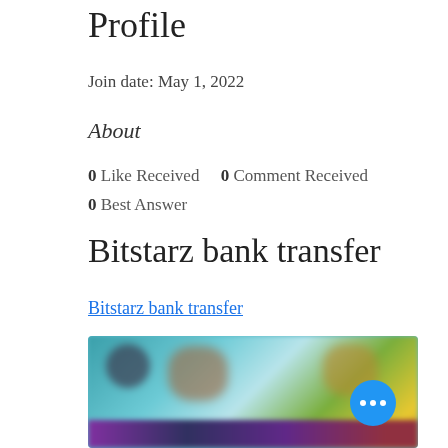Profile
Join date: May 1, 2022
About
0 Like Received   0 Comment Received
0 Best Answer
Bitstarz bank transfer
Bitstarz bank transfer
[Figure (photo): Blurred screenshot of a gaming or casino website interface showing colorful characters and a more options button]